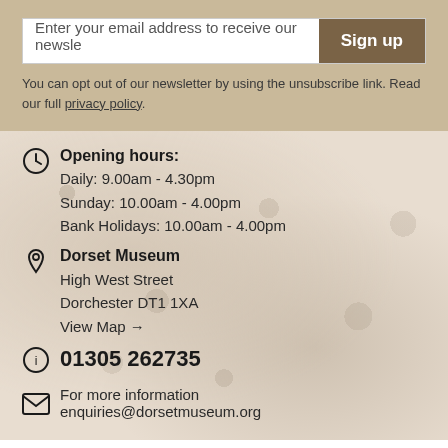Enter your email address to receive our newsletter
Sign up
You can opt out of our newsletter by using the unsubscribe link. Read our full privacy policy.
Opening hours:
Daily: 9.00am - 4.30pm
Sunday: 10.00am - 4.00pm
Bank Holidays: 10.00am - 4.00pm
Dorset Museum
High West Street
Dorchester DT1 1XA
View Map →
01305 262735
For more information
enquiries@dorsetmuseum.org